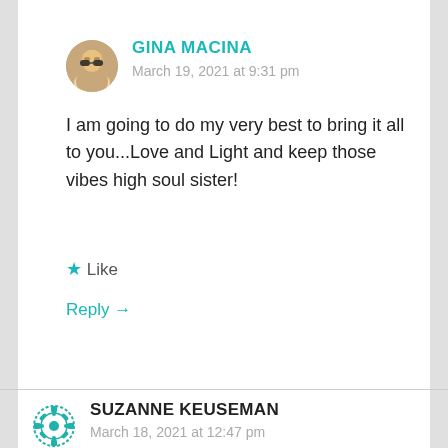GINA MACINA
March 19, 2021 at 9:31 pm
I am going to do my very best to bring it all to you...Love and Light and keep those vibes high soul sister!
★ Like
Reply →
SUZANNE KEUSEMAN
March 18, 2021 at 12:47 pm
Found you!